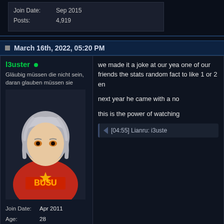Join Date: Sep 2015
Posts: 4,919
March 16th, 2022, 05:20 PM
l3uster
Gläubig müssen die nicht sein, daran glauben müssen sie
[Figure (illustration): Anime avatar of a girl with silver/gray hair wearing a red hoodie with 'Busu' text]
Join Date: Apr 2011
Age: 28
Gender: ♂
we made it a joke at our yea one of our friends the stats random fact to like 1 or 2 en

next year he came with a no

this is the power of watching
[04:55] Lianru: i3uste